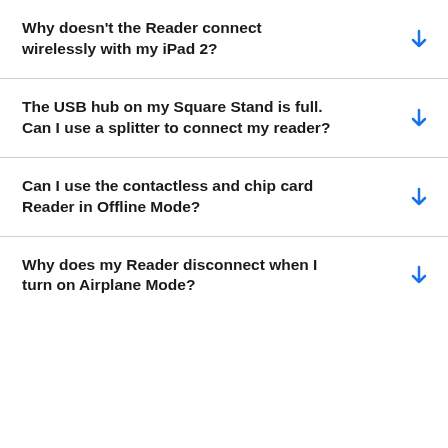Why doesn't the Reader connect wirelessly with my iPad 2?
The USB hub on my Square Stand is full. Can I use a splitter to connect my reader?
Can I use the contactless and chip card Reader in Offline Mode?
Why does my Reader disconnect when I turn on Airplane Mode?